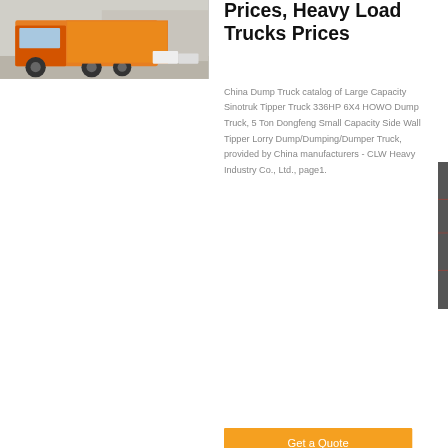[Figure (photo): Orange heavy-duty HOWO dump truck / tractor unit parked in a lot with other trucks and cars in the background]
Prices, Heavy Load Trucks Prices
China Dump Truck catalog of Large Capacity Sinotruk Tipper Truck 336HP 6X4 HOWO Dump Truck, 5 Ton Dongfeng Small Capacity Side Wall Tipper Lorry Dump/Dumping/Dumper Truck, provided by China manufacturers - CLW Heavy Industry Co., Ltd., page1.
Get a Quote
[Figure (photo): Red truck cab/tractor unit, partial view]
Dongfeng Truck